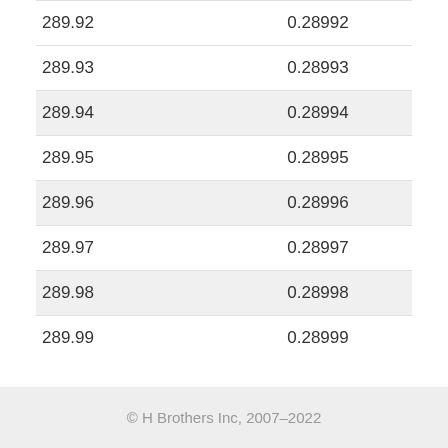| 289.92 | 0.28992 |
| 289.93 | 0.28993 |
| 289.94 | 0.28994 |
| 289.95 | 0.28995 |
| 289.96 | 0.28996 |
| 289.97 | 0.28997 |
| 289.98 | 0.28998 |
| 289.99 | 0.28999 |
© H Brothers Inc, 2007–2022